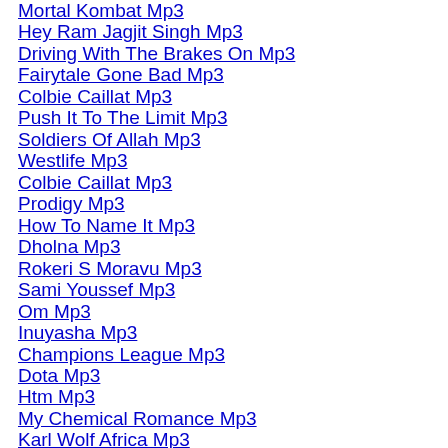Mortal Kombat Mp3
Hey Ram Jagjit Singh Mp3
Driving With The Brakes On Mp3
Fairytale Gone Bad Mp3
Colbie Caillat Mp3
Push It To The Limit Mp3
Soldiers Of Allah Mp3
Westlife Mp3
Colbie Caillat Mp3
Prodigy Mp3
How To Name It Mp3
Dholna Mp3
Rokeri S Moravu Mp3
Sami Youssef Mp3
Om Mp3
Inuyasha Mp3
Champions League Mp3
Dota Mp3
Htm Mp3
My Chemical Romance Mp3
Karl Wolf Africa Mp3
Sean Kingston Mp3
Thodi Mila De Mp3
Sum 41 Mp3
Karl Wolf Mp3
Vegster Mp3